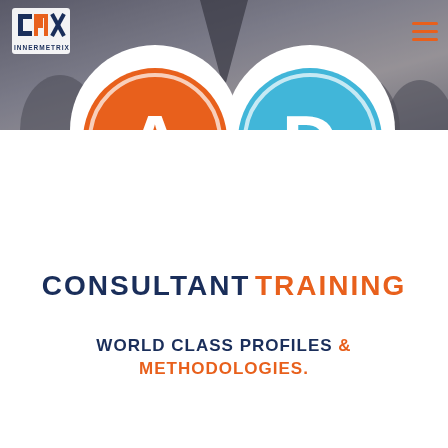[Figure (logo): Innermetrix logo with IMX letters in navy/orange on white background, top left]
[Figure (illustration): Two large circle icons: left circle is orange with white letter A inside (double ring), right circle is light blue with white letter D inside (double ring), displayed over white circles on a grey photo banner background of people clapping]
CONSULTANT TRAINING
WORLD CLASS PROFILES & METHODOLOGIES.